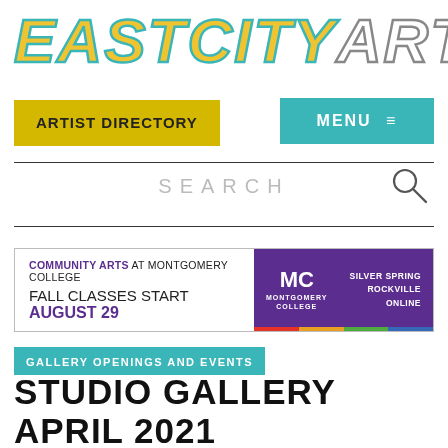[Figure (logo): EastCityArt logo in large bold italic letters, EASTCITY in gold/yellow with teal outline, ART in white with gray outline]
ARTIST DIRECTORY
MENU ≡
SEARCH
[Figure (infographic): Advertisement banner: COMMUNITY ARTS AT MONTGOMERY COLLEGE FALL CLASSES START AUGUST 29, with Montgomery College logo and locations SILVER SPRING, ROCKVILLE, ONLINE on purple background]
GALLERY OPENINGS AND EVENTS
STUDIO GALLERY APRIL 2021 EXHIBITIONS